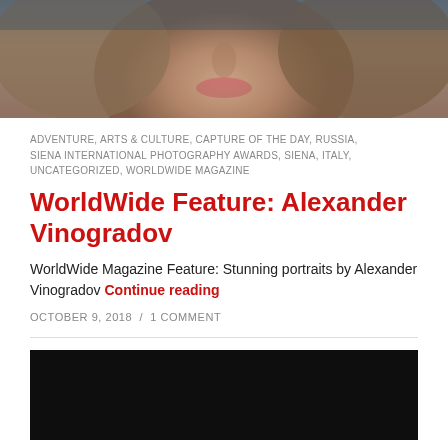[Figure (photo): Close-up portrait photo of a young woman showing lower face (nose, lips, chin) with light brown hair, dark background]
ADVENTURE, ARTS & CULTURE, CAPTURE OF THE DAY, RUSSIA, SIENA INTERNATIONAL PHOTOGRAPHY AWARDS, SIENA, ITALY, UNCATEGORIZED, WORLDWIDE MAGAZINE
WorldWide Feature: Alexander Vinogradov
WorldWide Magazine Feature: Stunning portraits by Alexander Vinogradov Continue reading
OCTOBER 9, 2018 / 1 COMMENT
[Figure (photo): Dark/black photograph, appears mostly black, bottom of page]